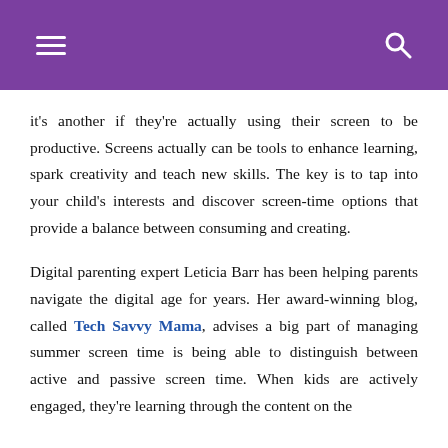[hamburger menu] [search icon]
it's another if they're actually using their screen to be productive. Screens actually can be tools to enhance learning, spark creativity and teach new skills. The key is to tap into your child's interests and discover screen-time options that provide a balance between consuming and creating.
Digital parenting expert Leticia Barr has been helping parents navigate the digital age for years. Her award-winning blog, called Tech Savvy Mama, advises a big part of managing summer screen time is being able to distinguish between active and passive screen time. When kids are actively engaged, they're learning through the content on the